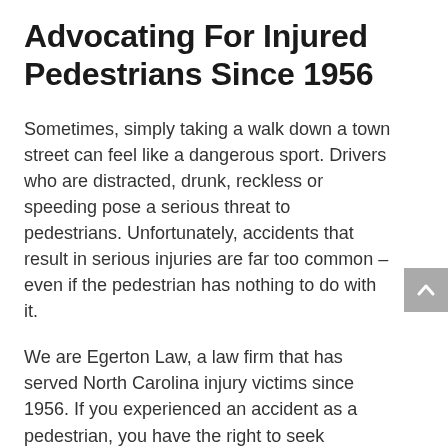Advocating For Injured Pedestrians Since 1956
Sometimes, simply taking a walk down a town street can feel like a dangerous sport. Drivers who are distracted, drunk, reckless or speeding pose a serious threat to pedestrians. Unfortunately, accidents that result in serious injuries are far too common – even if the pedestrian has nothing to do with it.
We are Egerton Law, a law firm that has served North Carolina injury victims since 1956. If you experienced an accident as a pedestrian, you have the right to seek compensation for your damages. Our attorneys can advocate for your rights, handle your insurance issues, and guide